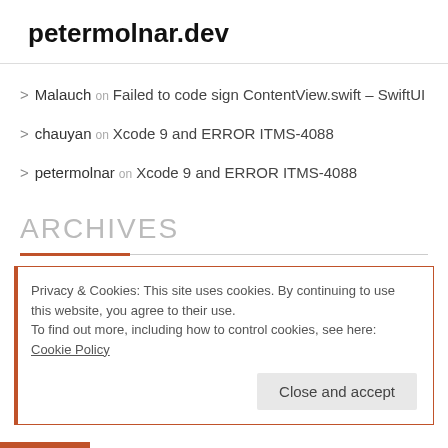petermolnar.dev
> Malauch on Failed to code sign ContentView.swift – SwiftUI
> chauyan on Xcode 9 and ERROR ITMS-4088
> petermolnar on Xcode 9 and ERROR ITMS-4088
ARCHIVES
Privacy & Cookies: This site uses cookies. By continuing to use this website, you agree to their use. To find out more, including how to control cookies, see here: Cookie Policy
Close and accept